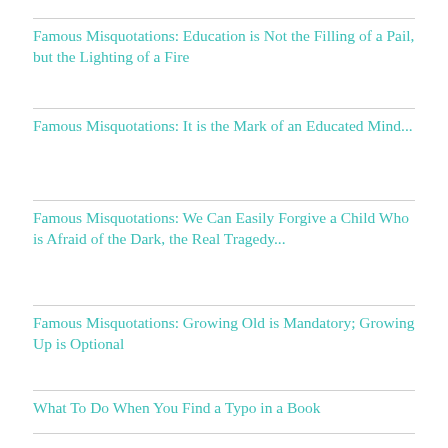Famous Misquotations: Education is Not the Filling of a Pail, but the Lighting of a Fire
Famous Misquotations: It is the Mark of an Educated Mind...
Famous Misquotations: We Can Easily Forgive a Child Who is Afraid of the Dark, the Real Tragedy...
Famous Misquotations: Growing Old is Mandatory; Growing Up is Optional
What To Do When You Find a Typo in a Book
What is the Word for Two Bad Choices?